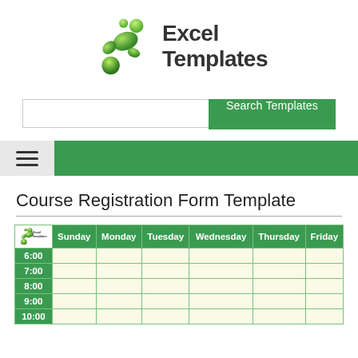[Figure (logo): Excel Templates logo with green abstract figure and bold text 'Excel Templates']
[Figure (screenshot): Search bar with text input and green 'Search Templates' button]
[Figure (screenshot): Navigation bar with hamburger menu icon on grey background and green bar]
Course Registration Form Template
| Excel Templates logo | Sunday | Monday | Tuesday | Wednesday | Thursday | Friday |
| --- | --- | --- | --- | --- | --- | --- |
| 6:00 |  |  |  |  |  |  |
| 7:00 |  |  |  |  |  |  |
| 8:00 |  |  |  |  |  |  |
| 9:00 |  |  |  |  |  |  |
| 10:00 |  |  |  |  |  |  |